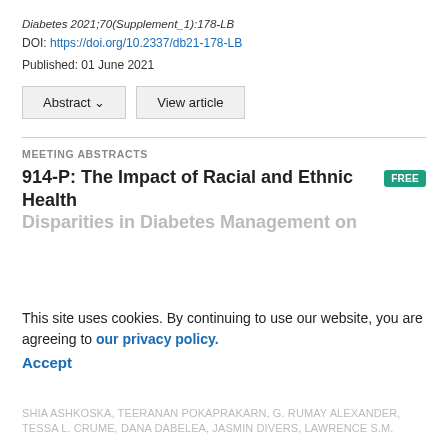Diabetes 2021;70(Supplement_1):178-LB
DOI: https://doi.org/10.2337/db21-178-LB
Published: 01 June 2021
Abstract ∨   View article
MEETING ABSTRACTS
914-P: The Impact of Racial and Ethnic Health Disparities in Diabetes Management on
This site uses cookies. By continuing to use our website, you are agreeing to our privacy policy. Accept
SHIA ASHKOSKA, TEERANAN POKAPRAKARN, G. RUMAY ALEXANDER, TESSA L. CRUME, DANA DABELEA, JASMIN DIVERS, LAWRENCE S.M.